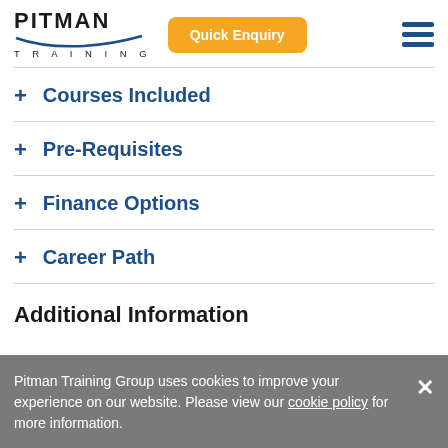[Figure (logo): Pitman Training logo with blue swoosh underline]
Courses Included
Pre-Requisites
Finance Options
Career Path
Additional Information
Pitman Training Group uses cookies to improve your experience on our website. Please view our cookie policy for more information.